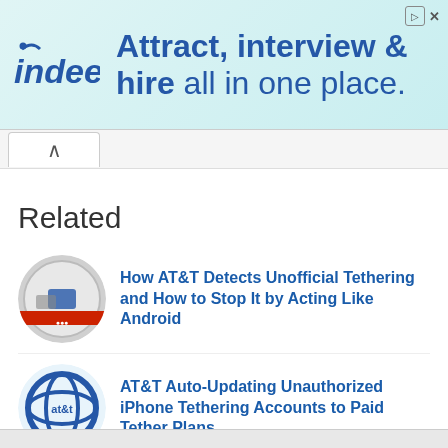[Figure (screenshot): Indeed advertisement banner: 'Attract, interview & hire all in one place.']
Related
How AT&T Detects Unofficial Tethering and How to Stop It by Acting Like Android
AT&T Auto-Updating Unauthorized iPhone Tethering Accounts to Paid Tether Plans
AT&T Removing Unlimited Data Plans From Unofficial Tethering Users